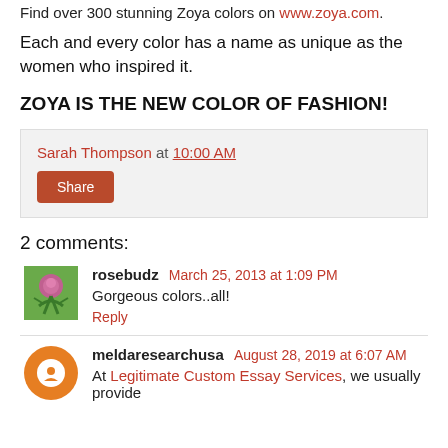Find over 300 stunning Zoya colors on www.zoya.com.
Each and every color has a name as unique as the women who inspired it.
ZOYA IS THE NEW COLOR OF FASHION!
Sarah Thompson at 10:00 AM
Share
2 comments:
rosebudz March 25, 2013 at 1:09 PM
Gorgeous colors..all!
Reply
meldaresearchusa August 28, 2019 at 6:07 AM
At Legitimate Custom Essay Services, we usually provide